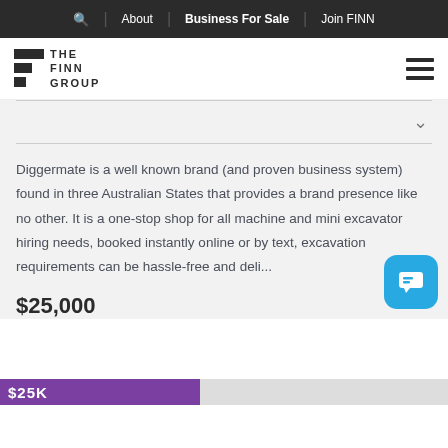Search | About | Business For Sale | Join FINN
[Figure (logo): The Finn Group logo with stacked dark rectangular blocks and text]
Diggermate is a well known brand (and proven business system) found in three Australian States that provides a brand presence like no other. It is a one-stop shop for all machine and mini excavator hiring needs, booked instantly online or by text, excavation requirements can be hassle-free and deli...
$25,000